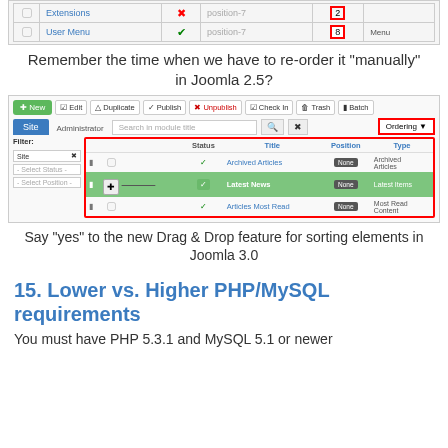[Figure (screenshot): Joomla 2.5 module manager table showing Extensions and User Menu rows with ordering numbers highlighted in red box]
Remember the time when we have to re-order it "manually" in Joomla 2.5?
[Figure (screenshot): Joomla 3.0 module manager interface showing drag & drop ordering with Archived Articles, Latest News (highlighted green, being dragged), and Articles Most Read rows. Ordering dropdown highlighted in red.]
Say "yes" to the new Drag & Drop feature for sorting elements in Joomla 3.0
15. Lower vs. Higher PHP/MySQL requirements
You must have PHP 5.3.1 and MySQL 5.1 or newer